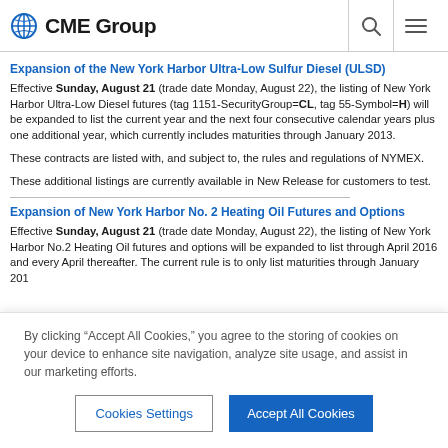CME Group
Expansion of the New York Harbor Ultra-Low Sulfur Diesel (ULSD)
Effective Sunday, August 21 (trade date Monday, August 22), the listing of New York Harbor Ultra-Low Diesel futures (tag 1151-SecurityGroup=CL, tag 55-Symbol=B) will be expanded to list the current year and the next four consecutive calendar years plus one additional year, which currently includes maturities through January 2013.
These contracts are listed with, and subject to, the rules and regulations of NYMEX.
These additional listings are currently available in New Release for customers to test.
Expansion of New York Harbor No. 2 Heating Oil Futures and Options
Effective Sunday, August 21 (trade date Monday, August 22), the listing of New York Harbor No.2 Heating Oil futures and options will be expanded to list through April 2016 and every April thereafter. The current rule is to only list maturities through January 201
By clicking “Accept All Cookies,” you agree to the storing of cookies on your device to enhance site navigation, analyze site usage, and assist in our marketing efforts.
Cookies Settings
Accept All Cookies